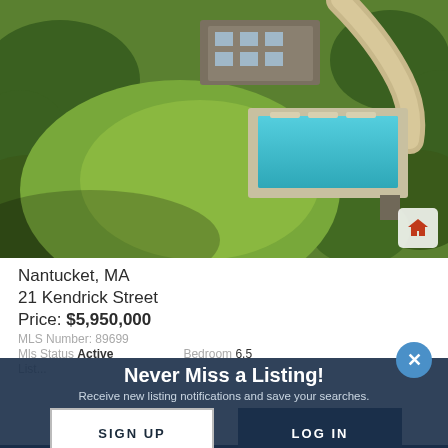[Figure (photo): Aerial drone photo of a large residential property in Nantucket, MA. The image shows a gray-shingled house with a rectangular swimming pool surrounded by a light-colored pool deck, lounge chairs, green lawn, and surrounding shrubs/trees. A curved driveway is visible in the upper right. A home icon button is in the lower right corner of the image.]
Nantucket, MA
21 Kendrick Street
Price: $5,950,000
MLS Number: 89699
Mls Status Active   Bedroom 6.5
List...
Never Miss a Listing!
Receive new listing notifications and save your searches.
SIGN UP
LOG IN
More Details